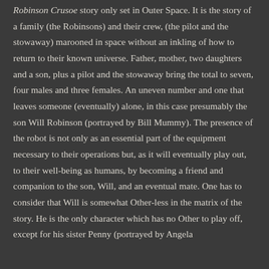Robinson Crusoe story only set in Outer Space. It is the story of a family (the Robinsons) and their crew, (the pilot and the stowaway) marooned in space without an inkling of how to return to their known universe. Father, mother, two daughters and a son, plus a pilot and the stowaway bring the total to seven, four males and three females. An uneven number and one that leaves someone (eventually) alone, in this case presumably the son Will Robinson (portrayed by Bill Mummy). The presence of the robot is not only as an essential part of the equipment necessary to their operations but, as it will eventually play out, to their well-being as humans, by becoming a friend and companion to the son, Will, and an eventual mate. One has to consider that Will is somewhat Other-less in the matrix of the story. He is the only character which has no Other to play off, except for his sister Penny (portrayed by Angela